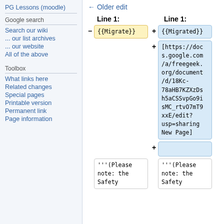PG Lessons (moodle)
Google search
Search our wiki
... our list archives
... our website
All of the above
Toolbox
What links here
Related changes
Special pages
Printable version
Permanent link
Page information
← Older edit
| Line 1: | Line 1: |
| --- | --- |
| - {{Migrate}} | + {{Migrated}} |
|  | + [https://docs.google.com/a/freegeek.org/document/d/18Kc-78aHB7KZXzDsh5aCSSvpGo9isMC_rtvO7mT9xxE/edit?usp=sharing New Page] |
|  | + |
| '''(Please note: the Safety | '''(Please note: the Safety |